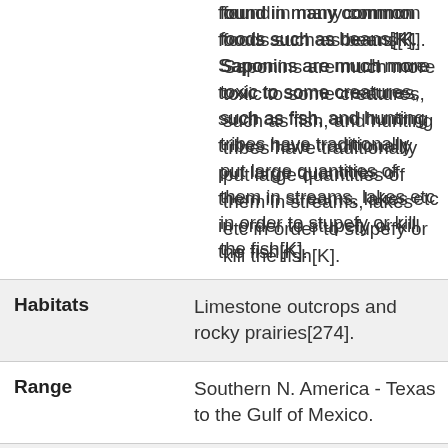found in many common foods such as beans[K]. Saponins are much more toxic to some creatures, such as fish, and hunting tribes have traditionally put large quantities of them in streams, lakes etc in order to stupefy or kill the fish[K].
| Field | Value |
| --- | --- |
| Habitats | Limestone outcrops and rocky prairies[274]. |
| Range | Southern N. America - Texas to the Gulf of Mexico. |
| Edibility Rating | (2 of 5) |
147k Shares  [Facebook] [Twitter] [Pinterest] [SMS] [Share]